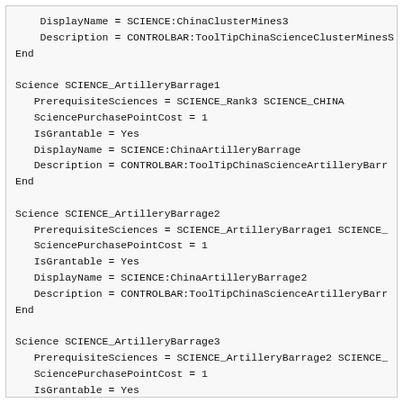DisplayName = SCIENCE:ChinaClusterMines3
    Description = CONTROLBAR:ToolTipChinaScienceClusterMinesS
End

Science SCIENCE_ArtilleryBarrage1
   PrerequisiteSciences = SCIENCE_Rank3 SCIENCE_CHINA
   SciencePurchasePointCost = 1
   IsGrantable = Yes
   DisplayName = SCIENCE:ChinaArtilleryBarrage
   Description = CONTROLBAR:ToolTipChinaScienceArtilleryBarr
End

Science SCIENCE_ArtilleryBarrage2
   PrerequisiteSciences = SCIENCE_ArtilleryBarrage1 SCIENCE_
   SciencePurchasePointCost = 1
   IsGrantable = Yes
   DisplayName = SCIENCE:ChinaArtilleryBarrage2
   Description = CONTROLBAR:ToolTipChinaScienceArtilleryBarr
End

Science SCIENCE_ArtilleryBarrage3
   PrerequisiteSciences = SCIENCE_ArtilleryBarrage2 SCIENCE_
   SciencePurchasePointCost = 1
   IsGrantable = Yes
   DisplayName = SCIENCE:ChinaArtilleryBarrage3
   Description = CONTROLBAR:ToolTipChinaScienceArtilleryBarr
End

Science SCIENCE_Frenzy1